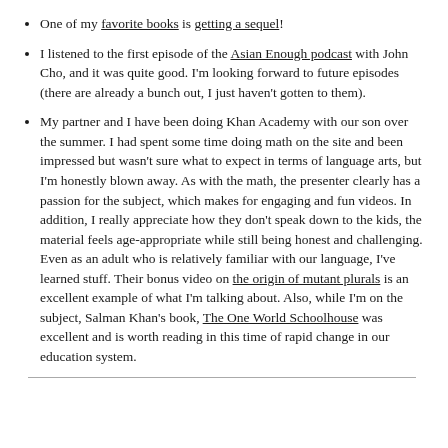One of my favorite books is getting a sequel!
I listened to the first episode of the Asian Enough podcast with John Cho, and it was quite good. I'm looking forward to future episodes (there are already a bunch out, I just haven't gotten to them).
My partner and I have been doing Khan Academy with our son over the summer. I had spent some time doing math on the site and been impressed but wasn't sure what to expect in terms of language arts, but I'm honestly blown away. As with the math, the presenter clearly has a passion for the subject, which makes for engaging and fun videos. In addition, I really appreciate how they don't speak down to the kids, the material feels age-appropriate while still being honest and challenging. Even as an adult who is relatively familiar with our language, I've learned stuff. Their bonus video on the origin of mutant plurals is an excellent example of what I'm talking about. Also, while I'm on the subject, Salman Khan's book, The One World Schoolhouse was excellent and is worth reading in this time of rapid change in our education system.